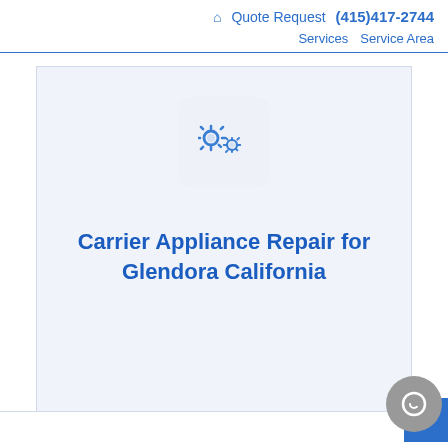🏠 Quote Request (415)417-2744 Services Service Area
[Figure (illustration): Two blue gear icons on a light blue-gray rounded square background, representing appliance repair services]
Carrier Appliance Repair for Glendora California